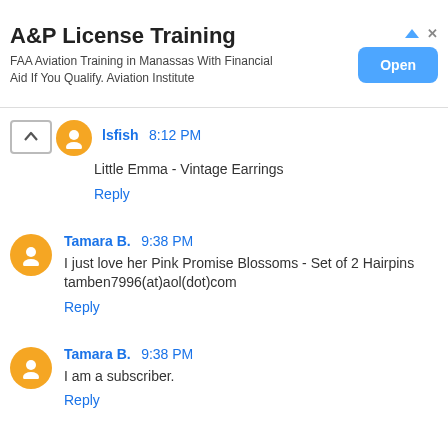[Figure (screenshot): Advertisement banner: A&P License Training. FAA Aviation Training in Manassas With Financial Aid If You Qualify. Aviation Institute. Blue 'Open' button on right.]
lsfish 8:12 PM
Little Emma - Vintage Earrings
Reply
Tamara B. 9:38 PM
I just love her Pink Promise Blossoms - Set of 2 Hairpins tamben7996(at)aol(dot)com
Reply
Tamara B. 9:38 PM
I am a subscriber.
Reply